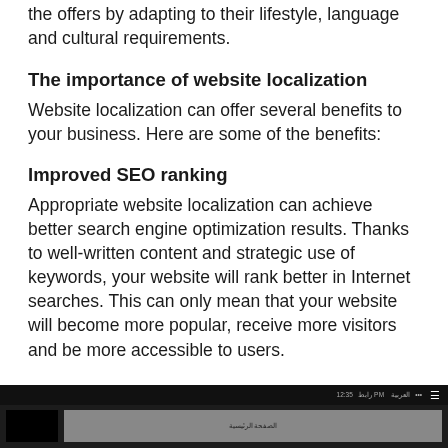the offers by adapting to their lifestyle, language and cultural requirements.
The importance of website localization
Website localization can offer several benefits to your business. Here are some of the benefits:
Improved SEO ranking
Appropriate website localization can achieve better search engine optimization results. Thanks to well-written content and strategic use of keywords, your website will rank better in Internet searches. This can only mean that your website will become more popular, receive more visitors and be more accessible to users.
[Figure (screenshot): Screenshot of a website with dark navigation bar containing text in Arabic and menu icon, with black content area below]